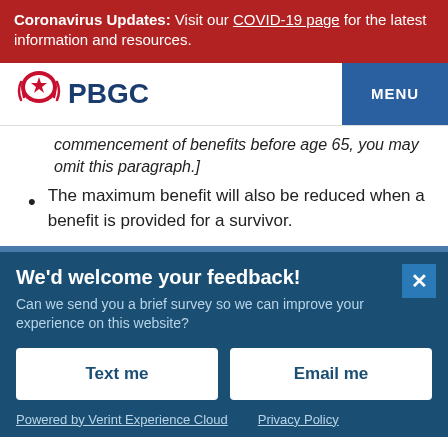Coronavirus Updates: Visit our COVID-19 page for the latest information and resources.
[Figure (logo): PBGC logo with icon and text]
commencement of benefits before age 65, you may omit this paragraph.]
The maximum benefit will also be reduced when a benefit is provided for a survivor.
We'd welcome your feedback! Can we send you a brief survey so we can improve your experience on this website?
Text me
Email me
Powered by Verint Experience Cloud   Privacy Policy